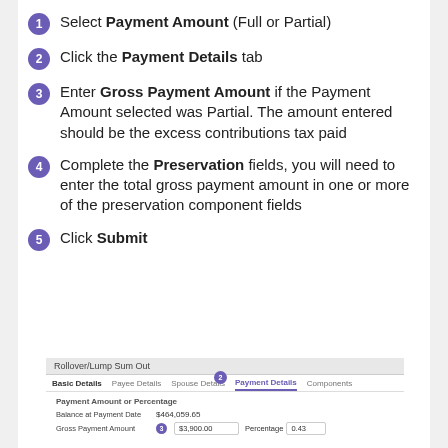Select Payment Amount (Full or Partial)
Click the Payment Details tab
Enter Gross Payment Amount if the Payment Amount selected was Partial. The amount entered should be the excess contributions tax paid
Complete the Preservation fields, you will need to enter the total gross payment amount in one or more of the preservation component fields
Click Submit
[Figure (screenshot): Screenshot of a Rollover/Lump Sum Out form showing tabs: Basic Details, Payee Details, Spouse Details, Payment Details (active, highlighted in purple with badge 2), Components. Body shows Payment Amount or Percentage section with Balance at Payment Date $464,059.65, and Gross Payment Amount field with badge 3 showing $3,900.00 and Percentage field showing 0.43.]